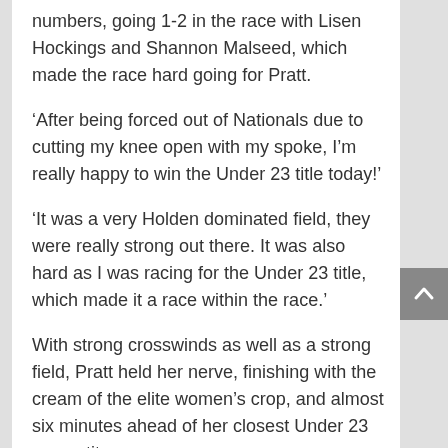numbers, going 1-2 in the race with Lisen Hockings and Shannon Malseed, which made the race hard going for Pratt.
‘After being forced out of Nationals due to cutting my knee open with my spoke, I’m really happy to win the Under 23 title today!’
‘It was a very Holden dominated field, they were really strong out there. It was also hard as I was racing for the Under 23 title, which made it a race within the race.’
With strong crosswinds as well as a strong field, Pratt held her nerve, finishing with the cream of the elite women’s crop, and almost six minutes ahead of her closest Under 23 competitor.
‘Going into the race, I was quite nervous. I really wanted to win the Under 23 title, however, I knew there were